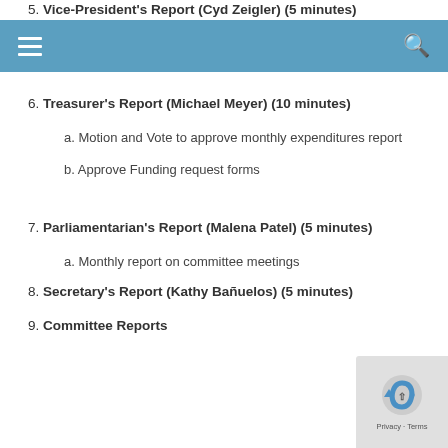5. Vice-President's Report (Cyd Zeigler) (5 minutes)
6. Treasurer's Report (Michael Meyer) (10 minutes)
a. Motion and Vote to approve monthly expenditures report
b. Approve Funding request forms
7. Parliamentarian's Report (Malena Patel) (5 minutes)
a. Monthly report on committee meetings
8. Secretary's Report (Kathy Bañuelos) (5 minutes)
9. Committee Reports